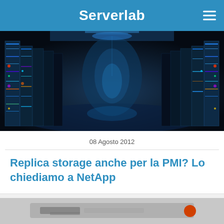Serverlab
[Figure (photo): Server room corridor with blue-lit server racks stretching into the distance, dramatic perspective view]
08 Agosto 2012
Replica storage anche per la PMI? Lo chiediamo a NetApp
[Figure (photo): Partially visible image at bottom of page, appears to show a computer or technology device]